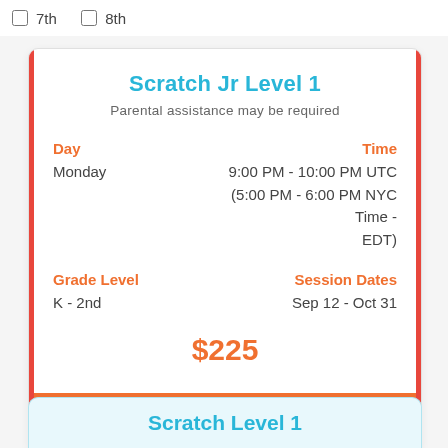7th   8th
Scratch Jr Level 1
Parental assistance may be required
Day
Monday
Time
9:00 PM - 10:00 PM UTC
(5:00 PM - 6:00 PM NYC Time - EDT)
Grade Level
K - 2nd
Session Dates
Sep 12 - Oct 31
$225
REGISTER
Scratch Level 1